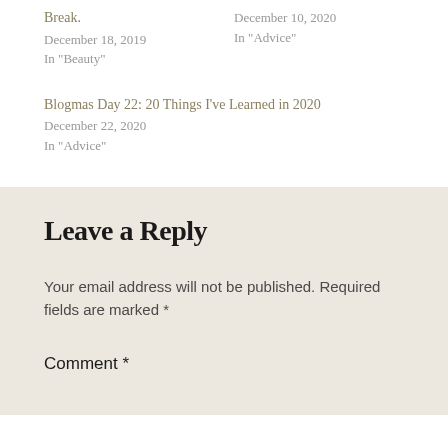Break.
December 18, 2019
In "Beauty"
December 10, 2020
In "Advice"
Blogmas Day 22: 20 Things I've Learned in 2020
December 22, 2020
In "Advice"
Leave a Reply
Your email address will not be published. Required fields are marked *
Comment *